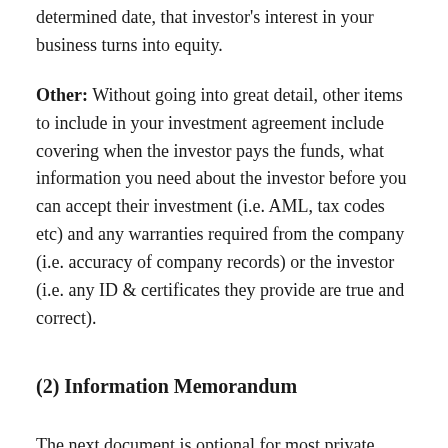determined date, that investor's interest in your business turns into equity.
Other: Without going into great detail, other items to include in your investment agreement include covering when the investor pays the funds, what information you need about the investor before you can accept their investment (i.e. AML, tax codes etc) and any warranties required from the company (i.e. accuracy of company records) or the investor (i.e. any ID & certificates they provide are true and correct).
(2) Information Memorandum
The next document is optional for most private investments but we're seeing more and more people preparing these, as an industry standard, and that is an